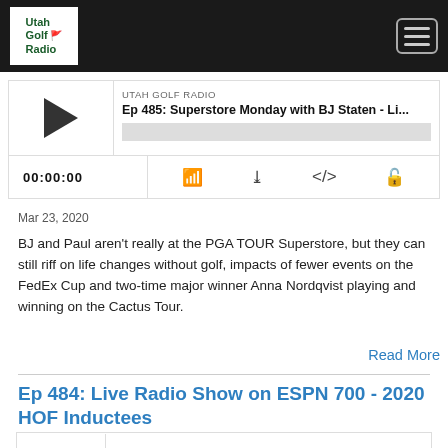[Figure (logo): Utah Golf Radio logo in white box on black nav bar]
[Figure (screenshot): Hamburger menu icon (three horizontal lines) in rounded rectangle on black nav bar]
[Figure (screenshot): Podcast player widget with play button, episode title 'Ep 485: Superstore Monday with BJ Staten - Li...', progress bar, time display 00:00:00, and control icons]
Mar 23, 2020
BJ and Paul aren't really at the PGA TOUR Superstore, but they can still riff on life changes without golf, impacts of fewer events on the FedEx Cup and two-time major winner Anna Nordqvist playing and winning on the Cactus Tour.
Read More
Ep 484: Live Radio Show on ESPN 700 - 2020 HOF Inductees
UTAH GOLF RADIO